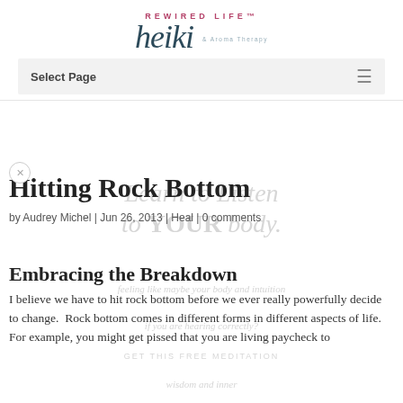[Figure (logo): Rewired Life Heiki & Aroma Therapy logo with script text and tagline]
Select Page
Hitting Rock Bottom
by Audrey Michel | Jun 26, 2013 | Heal | 0 comments
Embracing the Breakdown
I believe we have to hit rock bottom before we ever really powerfully decide to change.  Rock bottom comes in different forms in different aspects of life. For example, you might get pissed that you are living paycheck to